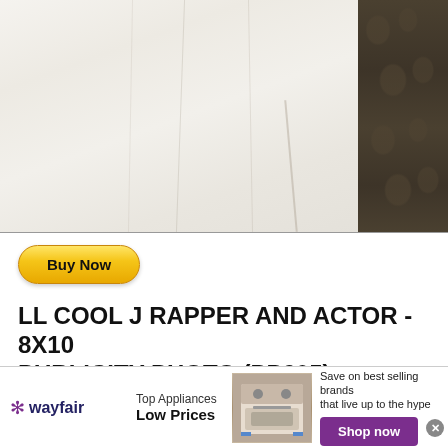[Figure (photo): Close-up photo of white fabric/clothing with a dark brown patterned fabric visible on the right edge]
[Figure (other): Yellow 'Buy Now' button with rounded corners]
LL COOL J RAPPER AND ACTOR - 8X10 PUBLICITY PHOTO (PP205):
[Figure (other): Wayfair advertisement banner: Top Appliances Low Prices, Save on best selling brands that live up to the hype, Shop now button]